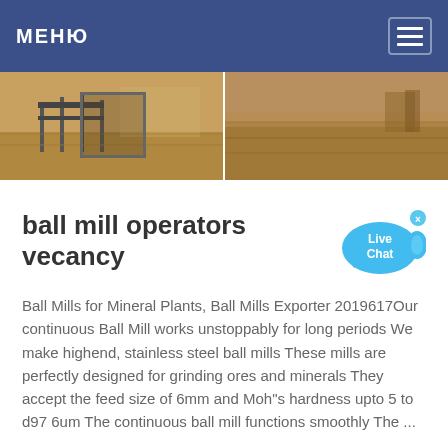МЕНЮ
[Figure (photo): Two side-by-side outdoor photos showing a dirt road area with industrial structures on the left and a dry open landscape on the right]
ball mill operators vecancy
Ball Mills for Mineral Plants, Ball Mills Exporter 2019617Our continuous Ball Mill works unstoppably for long periods We make highend, stainless steel ball mills These mills are perfectly designed for grinding ores and minerals They accept the feed size of 6mm and Moh"s hardness upto 5 to d97 6um The continuous ball mill functions smoothly The ...